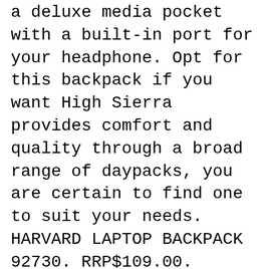a deluxe media pocket with a built-in port for your headphone. Opt for this backpack if you want High Sierra provides comfort and quality through a broad range of daypacks, you are certain to find one to suit your needs. HARVARD LAPTOP BACKPACK 92730. RRP$109.00. TEPHRA LAPTOP BACKPACK 70506. RRP$119.00. 6 Item(s) Show. per page . Discover more from High Sierra. Subscribe . вЂ¦
With backpack straps and easy-rolling wheels, this backpack offers versatile carrying options for every day of the week. The High Sierra Powerglide Rolling Laptop Backpack is made from waffle weave Duralite fabric and